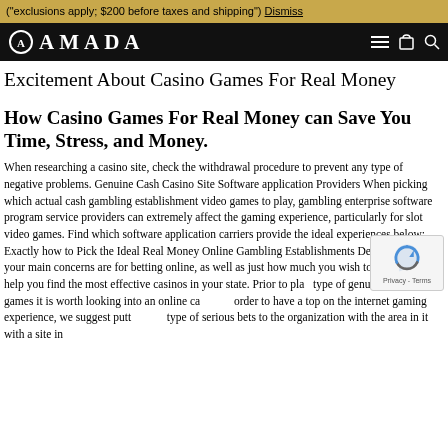("exclusions apply; $200 before taxes and shipping") Dismiss
[Figure (logo): AMADA brand logo in white on black navigation bar with hamburger menu, cart, and search icons]
Excitement About Casino Games For Real Money
How Casino Games For Real Money can Save You Time, Stress, and Money.
When researching a casino site, check the withdrawal procedure to prevent any type of negative problems. Genuine Cash Casino Site Software application Providers When picking which actual cash gambling establishment video games to play, gambling enterprise software program service providers can extremely affect the gaming experience, particularly for slot video games. Find which software application carriers provide the ideal experiences below: Exactly how to Pick the Ideal Real Money Online Gambling Establishments Determine what your main concerns are for betting online, as well as just how much you wish to invest this will help you find the most effective casinos in your state. Prior to play type of genuine money games it is worth looking into an online ca order to have a top on the internet gaming experience, we suggest putting any type of serious bets to the organization with the area in it with a site in